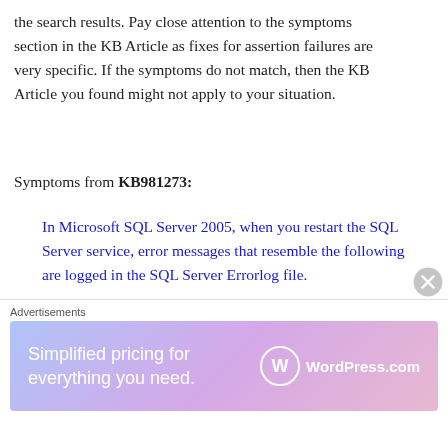the search results. Pay close attention to the symptoms section in the KB Article as fixes for assertion failures are very specific. If the symptoms do not match, then the KB Article you found might not apply to your situation.
Symptoms from KB981273:
In Microsoft SQL Server 2005, when you restart the SQL Server service, error messages that resemble the following are logged in the SQL Server Errorlog file.
Symptoms from KB2402218:
Advertisements
[Figure (other): WordPress.com advertisement banner: 'Simplified pricing for everything you need.' with WordPress.com logo]